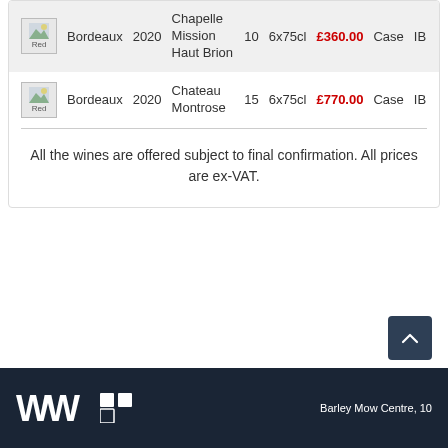| Image | Region | Year | Name | Qty | Size | Price | Unit | Type |
| --- | --- | --- | --- | --- | --- | --- | --- | --- |
| Red | Bordeaux | 2020 | Chapelle Mission Haut Brion | 10 | 6x75cl | £360.00 | Case | IB |
| Red | Bordeaux | 2020 | Chateau Montrose | 15 | 6x75cl | £770.00 | Case | IB |
All the wines are offered subject to final confirmation. All prices are ex-VAT.
Barley Mow Centre, 10